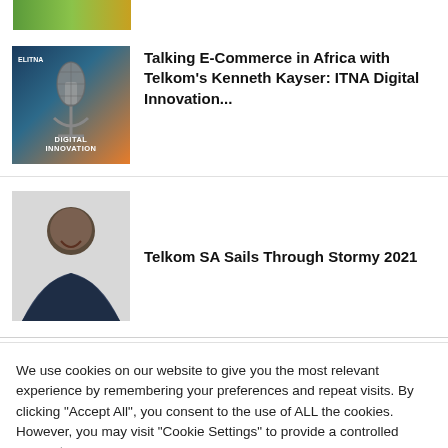[Figure (photo): Partial top image strip — green and yellow gradient, cropped at top of page]
[Figure (photo): Podcast microphone image with dark blue and orange background, text 'DIGITAL INNOVATION' at bottom, ITNA branding]
Talking E-Commerce in Africa with Telkom's Kenneth Kayser: ITNA Digital Innovation...
[Figure (photo): Portrait photo of a smiling man in a dark navy blazer and white shirt]
Telkom SA Sails Through Stormy 2021
We use cookies on our website to give you the most relevant experience by remembering your preferences and repeat visits. By clicking "Accept All", you consent to the use of ALL the cookies. However, you may visit "Cookie Settings" to provide a controlled consent.
Cookie Settings | Accept All